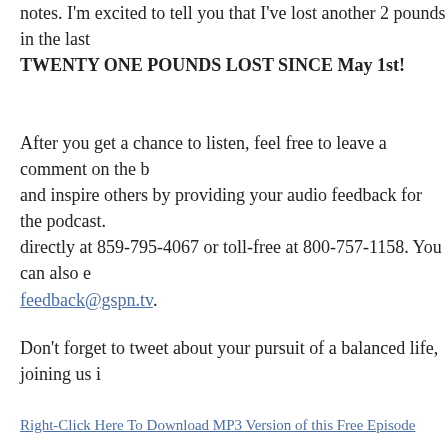notes. I'm excited to tell you that I've lost another 2 pounds in the last... TWENTY ONE POUNDS LOST SINCE May 1st!
After you get a chance to listen, feel free to leave a comment on the b... and inspire others by providing your audio feedback for the podcast. ... directly at 859-795-4067 or toll-free at 800-757-1158. You can also e... feedback@gspn.tv.
Don't forget to tweet about your pursuit of a balanced life, joining us i...
Right-Click Here To Download MP3 Version of this Free Episode
PREVIOUS POST: More Than Just Health And Fitness – Podcast Epi... NEXT POST: Transformers 2 Revenge of The Fallen – Initital Reactio...